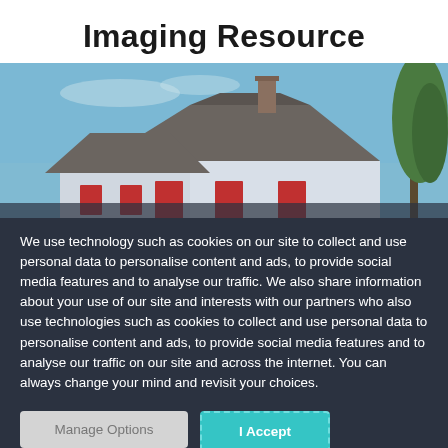Imaging Resource
[Figure (photo): Exterior photo of white house with dark shingle roof, chimney, red accent windows, and a pine tree at right edge against blue sky]
We use technology such as cookies on our site to collect and use personal data to personalise content and ads, to provide social media features and to analyse our traffic. We also share information about your use of our site and interests with our partners who also use technologies such as cookies to collect and use personal data to personalise content and ads, to provide social media features and to analyse our traffic on our site and across the internet. You can always change your mind and revisit your choices.
Manage Options
I Accept